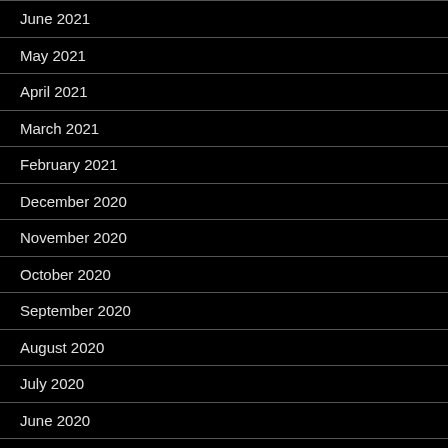June 2021
May 2021
April 2021
March 2021
February 2021
December 2020
November 2020
October 2020
September 2020
August 2020
July 2020
June 2020
May 2020